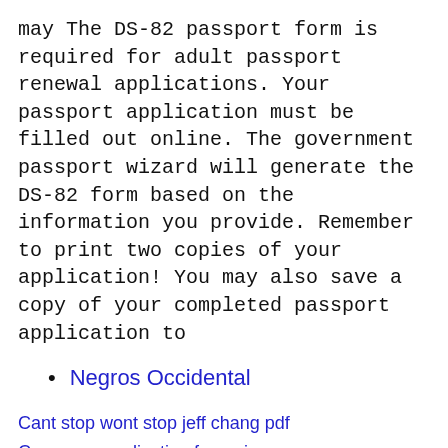may The DS-82 passport form is required for adult passport renewal applications. Your passport application must be filled out online. The government passport wizard will generate the DS-82 form based on the information you provide. Remember to print two copies of your application! You may also save a copy of your completed passport application to
Negros Occidental
Cant stop wont stop jeff chang pdf
Csc exam application form size